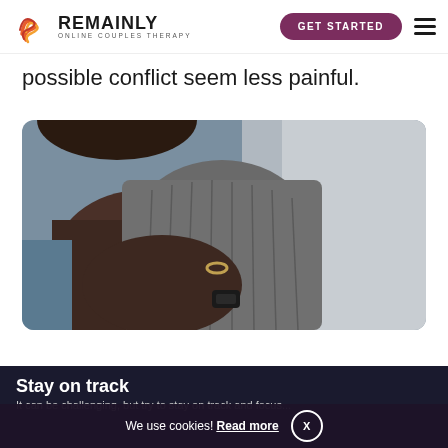REMAINLY ONLINE COUPLES THERAPY | GET STARTED
possible conflict seem less painful.
[Figure (photo): Close-up photo of two people embracing, one person wearing a ring and a watch, clutching the other person who is wearing a grey knit sweater, with a light background.]
Stay on track
It can be challenging, but try to stay on track and focus...
We use cookies! Read more